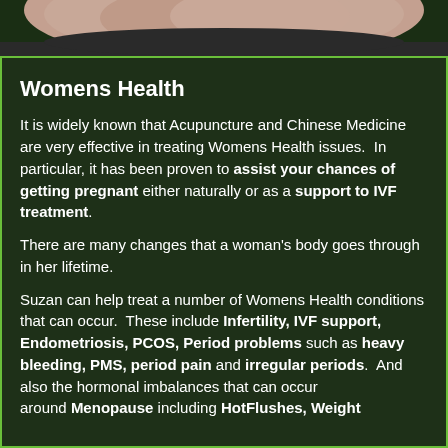[Figure (photo): Photo of a person's torso/arms crossed, partially visible at top of image]
Womens Health
It is widely known that Acupuncture and Chinese Medicine are very effective in treating Womens Health issues.  In particular, it has been proven to assist your chances of getting pregnant either naturally or as a support to IVF treatment.
There are many changes that a woman's body goes through in her lifetime.
Suzan can help treat a number of Womens Health conditions that can occur.  These include Infertility, IVF support, Endometriosis, PCOS, Period problems such as heavy bleeding, PMS, period pain and irregular periods.  And also the hormonal imbalances that can occur around Menopause including HotFlushes, Weight Gain, Insomnia, Fatigue, Mood swings and more.